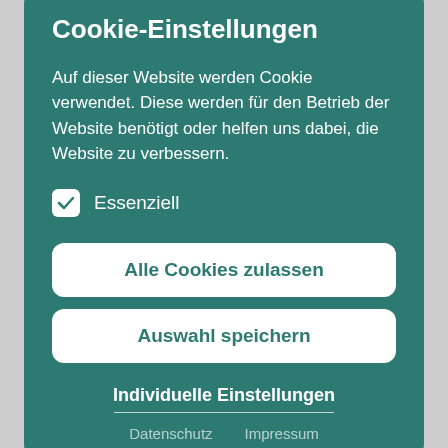Cookie-Einstellungen
Auf dieser Website werden Cookie verwendet. Diese werden für den Betrieb der Website benötigt oder helfen uns dabei, die Website zu verbessern.
✓ Essenziell
Alle Cookies zulassen
Auswahl speichern
Individuelle Einstellungen
Datenschutz   Impressum